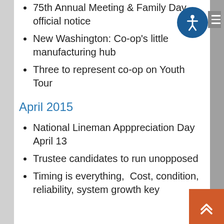75th Annual Meeting & Family Day, official notice
New Washington: Co-op's little manufacturing hub
Three to represent co-op on Youth Tour
April 2015
National Lineman Apppreciation Day April 13
Trustee candidates to run unopposed
Timing is everything,  Cost, condition, reliability, system growth key